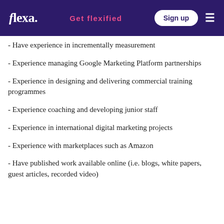flexa. | Get flexified | Sign up
- Have experience in incrementally measurement
- Experience managing Google Marketing Platform partnerships
- Experience in designing and delivering commercial training programmes
- Experience coaching and developing junior staff
- Experience in international digital marketing projects
- Experience with marketplaces such as Amazon
- Have published work available online (i.e. blogs, white papers, guest articles, recorded video)